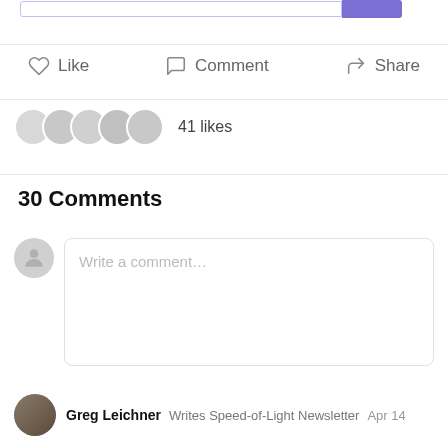[Figure (screenshot): Top search/subscribe bar with purple button, partially visible at top of page]
Like   Comment   Share
41 likes
30 Comments
Write a comment...
Greg Leichner   Writes Speed-of-Light Newsletter   Apr 14